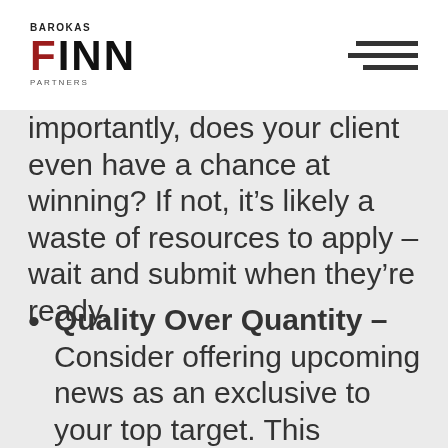BAROKAS FINN PARTNERS
importantly, does your client even have a chance at winning? If not, it's likely a waste of resources to apply – wait and submit when they're ready.
Quality Over Quantity – Consider offering upcoming news as an exclusive to your top target. This strategy is best utilized when one big feature would be more impactful than a few smaller ones.